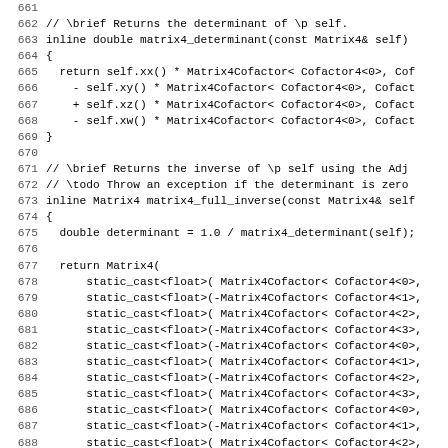Source code listing lines 661-692, showing C++ inline functions matrix4_determinant and matrix4_full_inverse with Matrix4Cofactor template calls.